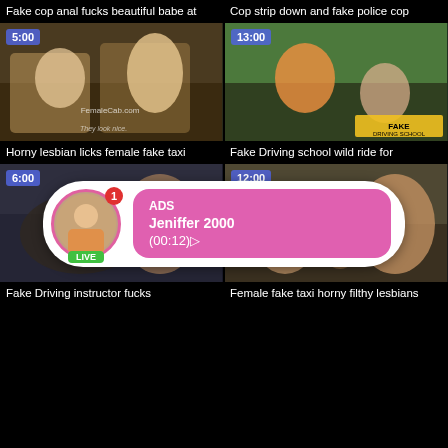Fake cop anal fucks beautiful babe at
Cop strip down and fake police cop
[Figure (screenshot): Video thumbnail showing two women in a taxi, duration 5:00, watermark FemaleCab.com]
[Figure (screenshot): Video thumbnail showing driving school scene, duration 13:00, watermark FAKE DRIVING SCHOOL]
Horny lesbian licks female fake taxi
Fake Driving school wild ride for
[Figure (screenshot): Video thumbnail showing driving instructor scene, duration 6:00]
[Figure (screenshot): Video thumbnail showing female taxi lesbians scene, duration 12:00]
[Figure (infographic): Ad overlay: profile avatar with LIVE badge and notification badge showing 1, pink message box with ADS label, name Jeniffer 2000, time (00:12)]
Fake Driving instructor fucks
Female fake taxi horny filthy lesbians